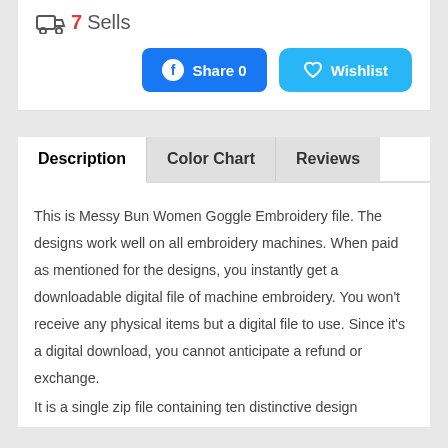7 Sells
[Figure (other): Facebook Share 0 button (blue rounded rectangle) and Wishlist button (cyan rounded rectangle with heart icon)]
Description | Color Chart | Reviews (tabs)
This is Messy Bun Women Goggle Embroidery file. The designs work well on all embroidery machines. When paid as mentioned for the designs, you instantly get a downloadable digital file of machine embroidery. You won't receive any physical items but a digital file to use. Since it's a digital download, you cannot anticipate a refund or exchange.
It is a single zip file containing ten distinctive design